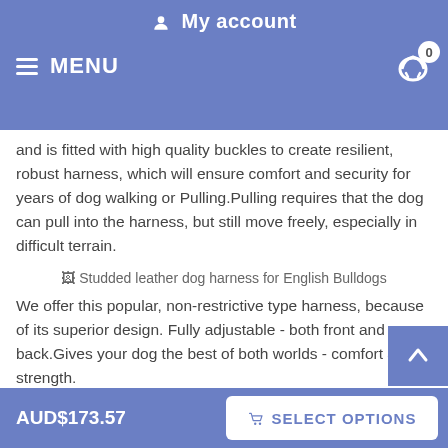My account
MENU
and is fitted with high quality buckles to create resilient, robust harness, which will ensure comfort and security for years of dog walking or Pulling.Pulling requires that the dog can pull into the harness, but still move freely, especially in difficult terrain.
[Figure (photo): Broken image placeholder labeled: Studded leather dog harness for English Bulldogs]
We offer this popular, non-restrictive type harness, because of its superior design. Fully adjustable - both front and back.Gives your dog the best of both worlds - comfort and strength.
[Figure (photo): Photo of a dark brown studded leather dog harness]
AUD$173.57  SELECT OPTIONS